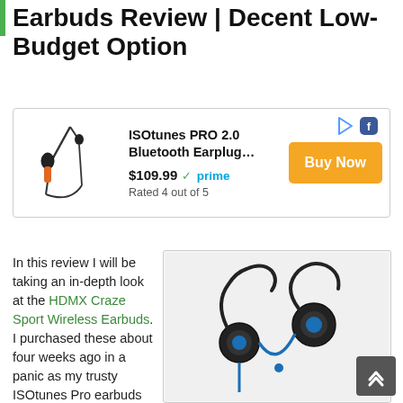Earbuds Review | Decent Low-Budget Option
[Figure (other): Product advertisement box for ISOtunes PRO 2.0 Bluetooth Earplug, priced at $109.99 with Amazon Prime badge, rated 4 out of 5, with a Buy Now button]
In this review I will be taking an in-depth look at the HDMX Craze Sport Wireless Earbuds. I purchased these about four weeks ago in a panic as my trusty ISOtunes Pro earbuds finally gave
[Figure (photo): Photo of black and blue over-ear sport wireless earbuds with ear hooks]